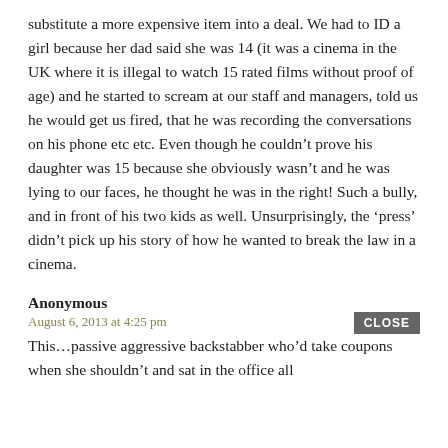substitute a more expensive item into a deal. We had to ID a girl because her dad said she was 14 (it was a cinema in the UK where it is illegal to watch 15 rated films without proof of age) and he started to scream at our staff and managers, told us he would get us fired, that he was recording the conversations on his phone etc etc. Even though he couldn't prove his daughter was 15 because she obviously wasn't and he was lying to our faces, he thought he was in the right! Such a bully, and in front of his two kids as well. Unsurprisingly, the 'press' didn't pick up his story of how he wanted to break the law in a cinema.
Anonymous
August 6, 2013 at 4:25 pm
This…passive aggressive backstabber who'd take coupons when she shouldn't and sat in the office all